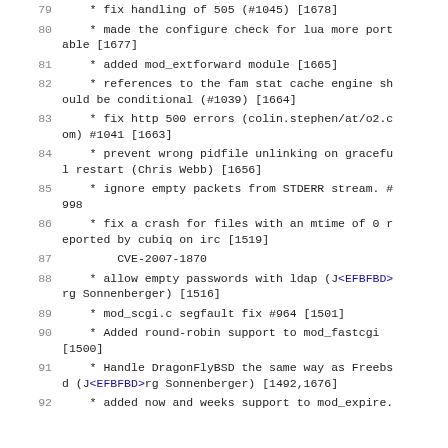79     * fix handling of 505 (#1045) [1678]
80     * made the configure check for lua more portable [1677]
81     * added mod_extforward module [1665]
82     * references to the fam stat cache engine should be conditional (#1039) [1664]
83     * fix http 500 errors (colin.stephen/at/o2.com) #1041 [1663]
84     * prevent wrong pidfile unlinking on graceful restart (Chris Webb) [1656]
85     * ignore empty packets from STDERR stream. #998
86     * fix a crash for files with an mtime of 0 reported by cubiq on irc [1519]
87         CVE-2007-1870
88 ⚠   * allow empty passwords with ldap (J<EFBFBD>rg Sonnenberger) [1516]
89     * mod_scgi.c segfault fix #964 [1501]
90     * Added round-robin support to mod_fastcgi [1500]
91 ⚠   * Handle DragonFlyBSD the same way as Freebsd (J<EFBFBD>rg Sonnenberger) [1492,1676]
92     * added now and weeks support to mod_expire.